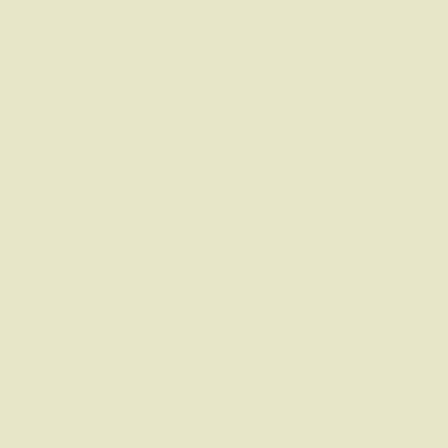| Title | Year | Publisher | Author/Editor | Pages | Price | Size | Format | Reviewer |
| --- | --- | --- | --- | --- | --- | --- | --- | --- |
| Millemondoinverno 1986: 4 Romanzi brevi e 14 Racconti | 1986-11-00 | ed. Giani Montana ri | Mondadori (Millemondini #30) | Lit 7,000? | 392 tp? | anth | Karel Thole |
| Second Variety | 1987-05-00 | Philip K. Dick | Underwood-Miller | 0-88 733-05 3-3 | $1 25.0 0? | xii + 395 | h coll | Bo |
| The World Tree | 19... | ed. D... | Little,... | 0-... |  | xi |  | Bo |